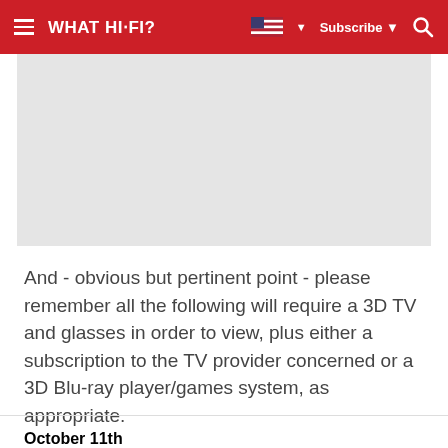WHAT HI-FI?  Subscribe
[Figure (other): Gray placeholder image block]
And - obvious but pertinent point - please remember all the following will require a 3D TV and glasses in order to view, plus either a subscription to the TV provider concerned or a 3D Blu-ray player/games system, as appropriate.
October 11th